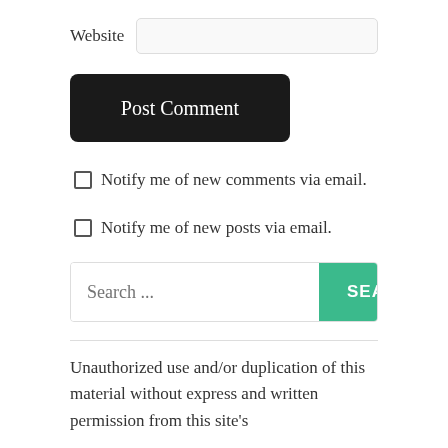Website
[Figure (screenshot): Post Comment button — dark/black rounded rectangle with white text]
Notify me of new comments via email.
Notify me of new posts via email.
[Figure (screenshot): Search bar with placeholder 'Search ...' and a teal SEARCH button]
Unauthorized use and/or duplication of this material without express and written permission from this site's